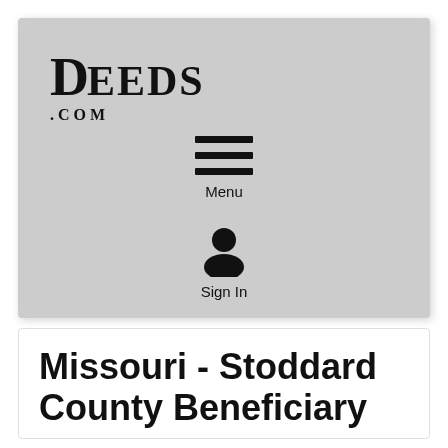[Figure (screenshot): Screenshot of Deeds.com website navigation showing the logo, hamburger menu icon with 'Menu' label, and user/sign-in icon with 'Sign In' label on a light gray background.]
Missouri - Stoddard County Beneficiary